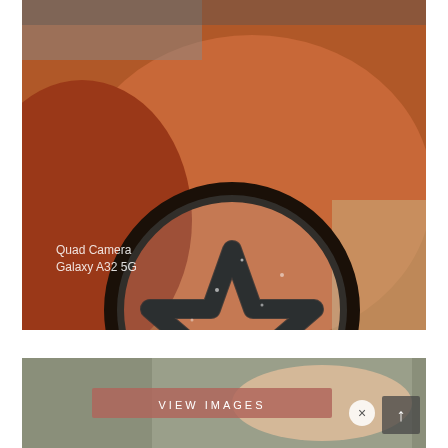[Figure (photo): Close-up photo of a tattoo on a dark-skinned arm/elbow showing a pentagram (five-pointed star inside a circle) in bold black ink. The tattoo appears fresh with shimmering/glittery appearance. A watermark reads 'Quad Camera' and 'Galaxy A32 5G' in the lower left corner of the photo.]
[Figure (photo): Partial photo of a lighter-skinned arm/wrist area against an olive/khaki fabric background. Overlaid with a pink/mauve 'VIEW IMAGES' button, an X close button, and an upward arrow navigation button.]